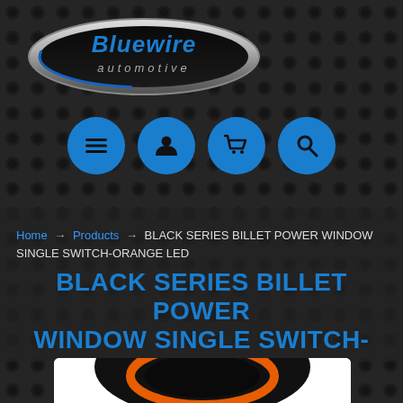[Figure (logo): Bluewire Automotive oval logo with chrome border and blue text]
[Figure (infographic): Navigation icon bar with four blue circular buttons: menu (hamburger), account (person), cart, and search (magnifier)]
Home → Products → BLACK SERIES BILLET POWER WINDOW SINGLE SWITCH-ORANGE LED
BLACK SERIES BILLET POWER WINDOW SINGLE SWITCH-ORANGE LED
[Figure (photo): Partial product photo showing the top of a black billet power window switch with an orange LED ring, white background]